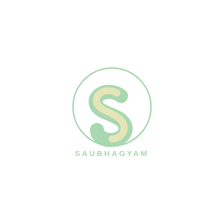[Figure (logo): Saubhagyam logo: a light green circle outline containing a stylized S shape with green and pale yellow tones, with the text SAUBHAGYAM in light green spaced capital letters below]